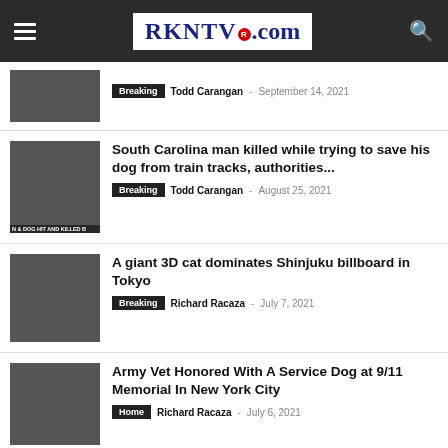RKNTV.com
Breaking  Todd Carangan  September 14, 2021
South Carolina man killed while trying to save his dog from train tracks, authorities...  Breaking  Todd Carangan  August 25, 2021
A giant 3D cat dominates Shinjuku billboard in Tokyo  Breaking  Richard Racaza  July 7, 2021
Army Vet Honored With A Service Dog at 9/11 Memorial In New York City  Home  Richard Racaza  July 6, 2021